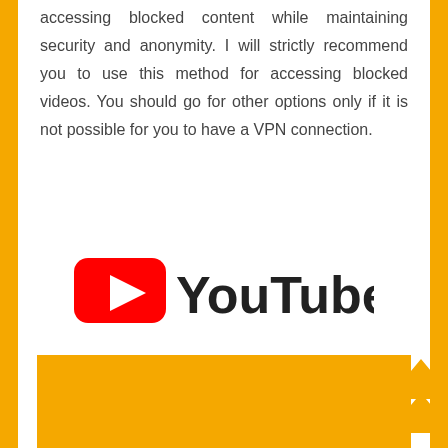accessing blocked content while maintaining security and anonymity. I will strictly recommend you to use this method for accessing blocked videos. You should go for other options only if it is not possible for you to have a VPN connection.
[Figure (logo): YouTube logo with red play button icon and dark text 'YouTube']
[Figure (other): Orange/amber colored rectangle box at bottom of page]